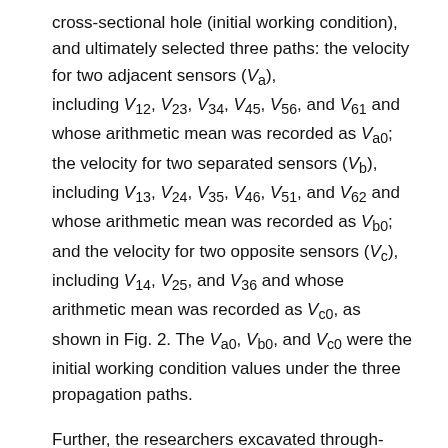cross-sectional hole (initial working condition), and ultimately selected three paths: the velocity for two adjacent sensors (Va), including V12, V23, V34, V45, V56, and V61 and whose arithmetic mean was recorded as Va0; the velocity for two separated sensors (Vb), including V13, V24, V35, V46, V51, and V62 and whose arithmetic mean was recorded as Vb0; and the velocity for two opposite sensors (Vc), including V14, V25, and V36 and whose arithmetic mean was recorded as Vc0, as shown in Fig. 2. The Va0, Vb0, and Vc0 were the initial working condition values under the three propagation paths.
Further, the researchers excavated through-holes of a quantitative area at the section centers of TP1 to TP6, detected the stress waves correspondingly,